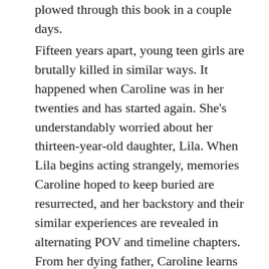plowed through this book in a couple days.
Fifteen years apart, young teen girls are brutally killed in similar ways. It happened when Caroline was in her twenties and has started again. She’s understandably worried about her thirteen-year-old daughter, Lila. When Lila begins acting strangely, memories Caroline hoped to keep buried are resurrected, and her backstory and their similar experiences are revealed in alternating POV and timeline chapters. From her dying father, Caroline learns that as a very young girl she went missing for several days, but has no memory of what happened to her during that time. By the end of the novel, I still didn’t have a firm grasp of what she experienced during that disappearance either.